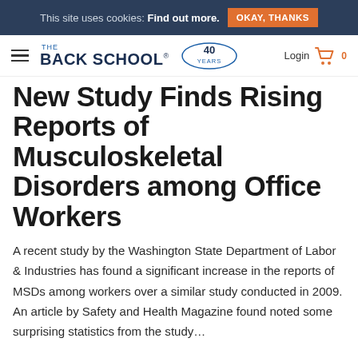This site uses cookies: Find out more. OKAY, THANKS
[Figure (logo): The Back School logo with 40 Years badge and navigation bar with hamburger menu, Login link, and cart icon]
New Study Finds Rising Reports of Musculoskeletal Disorders among Office Workers
A recent study by the Washington State Department of Labor & Industries has found a significant increase in the reports of MSDs among workers over a similar study conducted in 2009. An article by Safety and Health Magazine found noted some surprising statistics from the study…